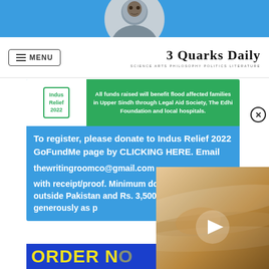[Figure (photo): Person headshot in circular crop on blue background, partially visible at top of page]
MENU | 3 Quarks Daily — SCIENCE ARTS PHILOSOPHY POLITICS LITERATURE
[Figure (infographic): Blue promotional box for Indus Relief 2022: includes green banner 'All funds raised will benefit flood affected families in Upper Sindh through Legal Aid Society, The Edhi Foundation and local hospitals.' Text: 'To register, please donate to Indus Relief 2022 GoFundMe page by CLICKING HERE. Email thewritingroomco@gmail.com with receipt/proof. Minimum donation is $45 outside Pakistan and Rs. 3,500 inside, but give as generously as p...']
[Figure (screenshot): Yellow ORDER NO... text on blue background at bottom, partially visible]
[Figure (photo): Video overlay showing Jupiter or planetary surface in brown/tan tones with play button, partially covering the main content]